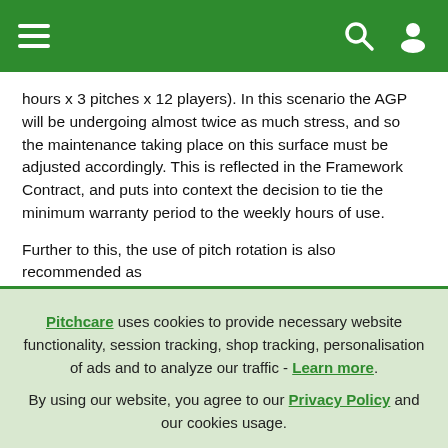Navigation bar with hamburger menu, search, and user icons
hours x 3 pitches x 12 players). In this scenario the AGP will be undergoing almost twice as much stress, and so the maintenance taking place on this surface must be adjusted accordingly. This is reflected in the Framework Contract, and puts into context the decision to tie the minimum warranty period to the weekly hours of use.
Further to this, the use of pitch rotation is also recommended as
Pitchcare uses cookies to provide necessary website functionality, session tracking, shop tracking, personalisation of ads and to analyze our traffic - Learn more. By using our website, you agree to our Privacy Policy and our cookies usage.
Accept